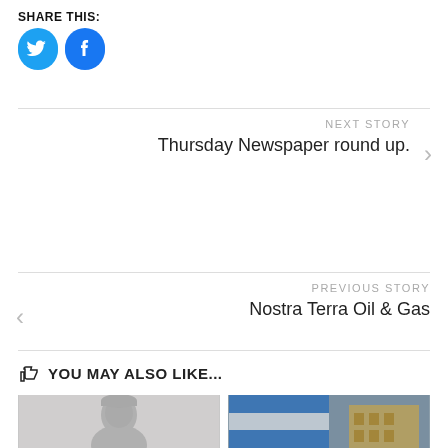SHARE THIS:
[Figure (illustration): Twitter and Facebook social share icon buttons (blue circles with bird and f logos)]
NEXT STORY
Thursday Newspaper round up.
PREVIOUS STORY
Nostra Terra Oil & Gas
YOU MAY ALSO LIKE...
[Figure (photo): Greyscale photo of Che Guevara]
[Figure (photo): Photo of building with Greek flag colors overlay]